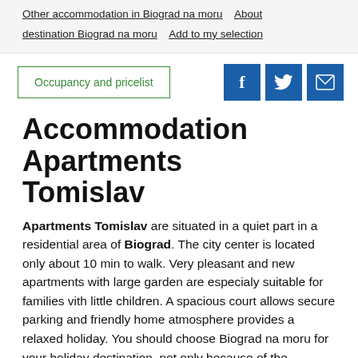Other accommodation in Biograd na moru   About destination Biograd na moru   Add to my selection
[Figure (screenshot): Action bar with Occupancy and pricelist button and social media icons for Facebook, Twitter, and Email]
Accommodation Apartments Tomislav
Apartments Tomislav are situated in a quiet part in a residential area of Biograd. The city center is located only about 10 min to walk. Very pleasant and new apartments with large garden are especialy suitable for families vith little children. A spacious court allows secure parking and friendly home atmosphere provides a relaxed holiday. You should choose Biograd na moru for your holiday destination, not only because of the declared Soline beach with a slide and other beach attractions, but also because of interesting town histrory and its surroundings. Biograd na Moru has a pleasant climate, kristal klear sea and rich vegetation witch makes it a